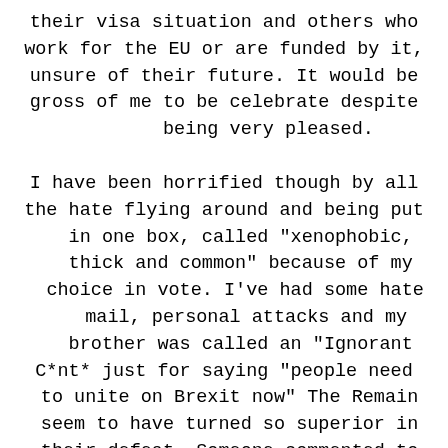their visa situation and others who work for the EU or are funded by it, unsure of their future. It would be gross of me to be celebrate despite being very pleased.

I have been horrified though by all the hate flying around and being put in one box, called "xenophobic, thick and common" because of my choice in vote. I've had some hate mail, personal attacks and my brother was called an "Ignorant C*nt* just for saying "people need to unite on Brexit now" The Remain seem to have turned so superior in their defeat. Someone commented to me that "This is far too complex for SOME people to vote on" - well to me